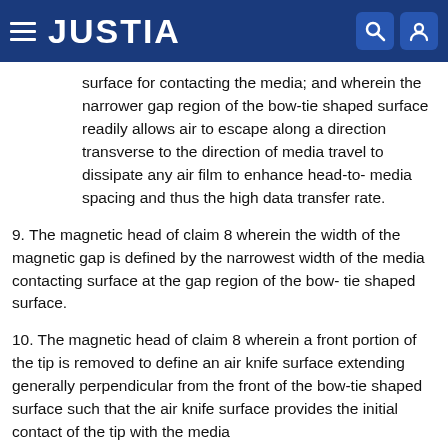JUSTIA
surface for contacting the media; and wherein the narrower gap region of the bow-tie shaped surface readily allows air to escape along a direction transverse to the direction of media travel to dissipate any air film to enhance head-to-media spacing and thus the high data transfer rate.
9. The magnetic head of claim 8 wherein the width of the magnetic gap is defined by the narrowest width of the media contacting surface at the gap region of the bow-tie shaped surface.
10. The magnetic head of claim 8 wherein a front portion of the tip is removed to define an air knife surface extending generally perpendicular from the front of the bow-tie shaped surface such that the air knife surface provides the initial contact of the tip with the media